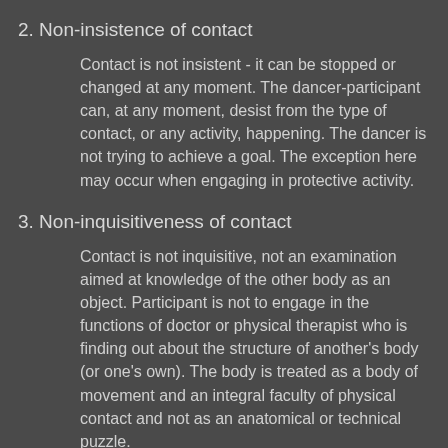2. Non-insistence of contact
Contact is not insistent - it can be stopped or changed at any moment. The dancer-participant can, at any moment, desist from the type of contact, or any activity, happening. The dancer is not trying to achieve a goal. The exception here may occur when engaging in protective activity.
3. Non-inquisitiveness of contact
Contact is not inquisitive, not an examination aimed at knowledge of the other body as an object. Participant is not to engage in the functions of doctor or physical therapist who is finding out about the structure of another's body (or one's own). The body is treated as a body of movement and an integral faculty of physical contact and not as an anatomical or technical puzzle.
4. Protectiveness
Contact is protective - of one's own body and of the